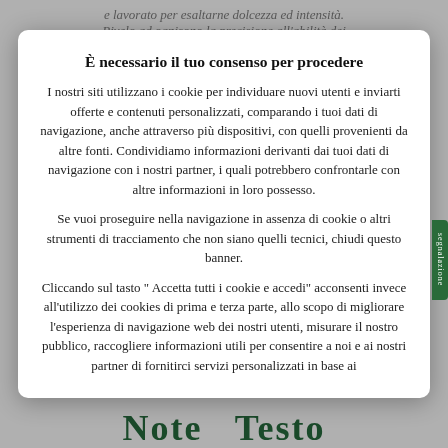e lavorato per esaltarne dolcezza ed intensità.
Rivelo ad ognisono la precisione all'abilità dei
È necessario il tuo consenso per procedere
I nostri siti utilizzano i cookie per individuare nuovi utenti e inviarti offerte e contenuti personalizzati, comparando i tuoi dati di navigazione, anche attraverso più dispositivi, con quelli provenienti da altre fonti. Condividiamo informazioni derivanti dai tuoi dati di navigazione con i nostri partner, i quali potrebbero confrontarle con altre informazioni in loro possesso.
Se vuoi proseguire nella navigazione in assenza di cookie o altri strumenti di tracciamento che non siano quelli tecnici, chiudi questo banner.
Cliccando sul tasto " Accetta tutti i cookie e accedi" acconsenti invece all'utilizzo dei cookies di prima e terza parte, allo scopo di migliorare l'esperienza di navigazione web dei nostri utenti, misurare il nostro pubblico, raccogliere informazioni utili per consentire a noi e ai nostri partner di fornitirci servizi personalizzati in base ai
Note   Testo